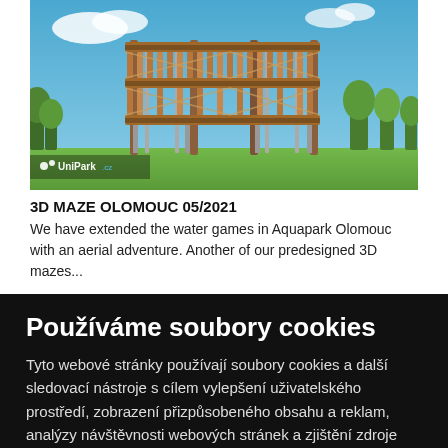[Figure (photo): Outdoor 3D maze structure made of wood and metal, multi-level elevated wooden walkways with netting, set in a green park with blue sky background. UniPark.cz logo visible in bottom-left corner.]
3D MAZE OLOMOUC 05/2021
We have extended the water games in Aquapark Olomouc with an aerial adventure. Another of our predesigned 3D mazes...
Používáme soubory cookies
Tyto webové stránky používají soubory cookies a další sledovací nástroje s cílem vylepšení uživatelského prostředí, zobrazení přizpůsobeného obsahu a reklam, analýzy návštěvnosti webových stránek a zjištění zdroje návštěvnosti.